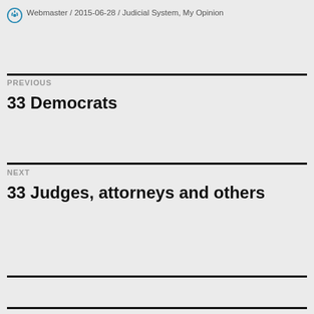Webmaster / 2015-06-28 / Judicial System, My Opinion
PREVIOUS
33 Democrats
NEXT
33 Judges, attorneys and others